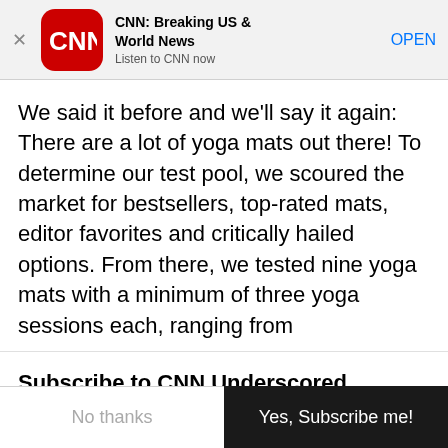[Figure (screenshot): CNN app banner with red rounded-square logo showing 'CNN' in white, app name 'CNN: Breaking US & World News', subtitle 'Listen to CNN now', and an 'OPEN' link in blue. A close X is on the left.]
We said it before and we'll say it again: There are a lot of yoga mats out there! To determine our test pool, we scoured the market for bestsellers, top-rated mats, editor favorites and critically hailed options. From there, we tested nine yoga mats with a minimum of three yoga sessions each, ranging from
Subscribe to CNN Underscored notifications
Never miss out on a product worth buying or a sale worth shopping by subscribing to our push notifications.
No thanks
Yes, Subscribe me!